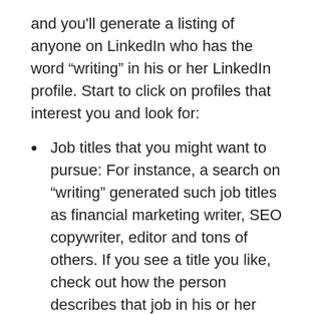and you'll generate a listing of anyone on LinkedIn who has the word “writing” in his or her LinkedIn profile. Start to click on profiles that interest you and look for:
Job titles that you might want to pursue: For instance, a search on “writing” generated such job titles as financial marketing writer, SEO copywriter, editor and tons of others. If you see a title you like, check out how the person describes that job in his or her profile and what other jobs this person has held that might appeal to you as well.
Employers who hire people with these job titles: When you see a company listed on a person’s profile, click right through to the LinkedIn